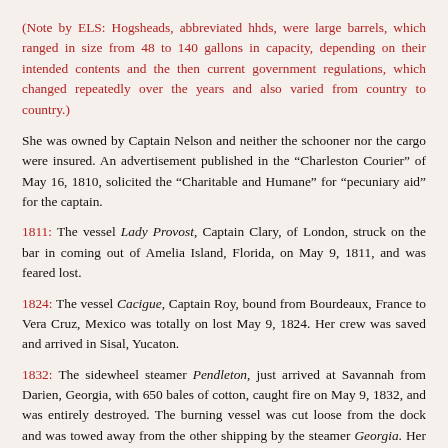(Note by ELS: Hogsheads, abbreviated hhds, were large barrels, which ranged in size from 48 to 140 gallons in capacity, depending on their intended contents and the then current government regulations, which changed repeatedly over the years and also varied from country to country.)
She was owned by Captain Nelson and neither the schooner nor the cargo were insured. An advertisement published in the “Charleston Courier” of May 16, 1810, solicited the “Charitable and Humane” for “pecuniary aid” for the captain.
1811: The vessel Lady Provost, Captain Clary, of London, struck on the bar in coming out of Amelia Island, Florida, on May 9, 1811, and was feared lost.
1824: The vessel Cacigue, Captain Roy, bound from Bourdeaux, France to Vera Cruz, Mexico was totally on lost May 9, 1824. Her crew was saved and arrived in Sisal, Yucaton.
1832: The sidewheel steamer Pendleton, just arrived at Savannah from Darien, Georgia, with 650 bales of cotton, caught fire on May 9, 1832, and was entirely destroyed. The burning vessel was cut loose from the dock and was towed away from the other shipping by the steamer Georgia. Her cotton was insured for $19,000.